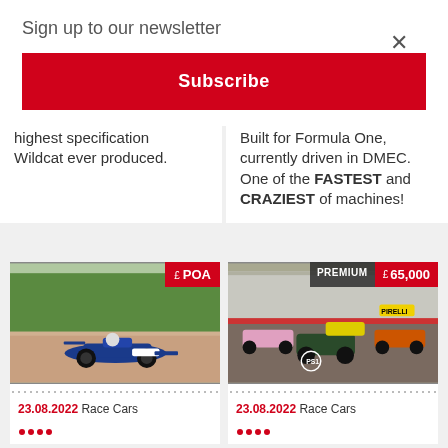Sign up to our newsletter
Subscribe
highest specification Wildcat ever produced.
Built for Formula One, currently driven in DMEC. One of the FASTEST and CRAZIEST of machines!
[Figure (photo): Blue single-seater formula race car on a track, price badge showing £ POA]
23.08.2022 Race Cars
[Figure (photo): Multiple GT/touring cars racing on track, badges showing PREMIUM and £65,000]
23.08.2022 Race Cars